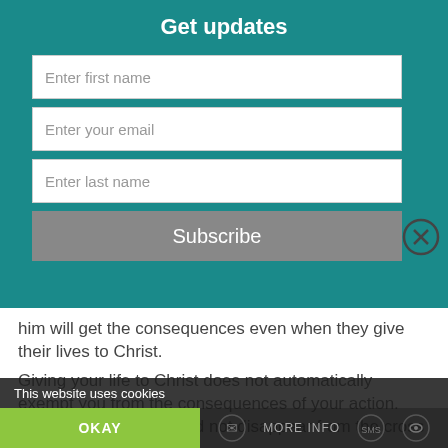Get updates
[Figure (screenshot): A newsletter subscription form with fields for first name, email, last name, and a Subscribe button, overlaid on a teal background with a close button]
him will get the consequences even when they give their lives to Christ.
Giving your life to Christ does not automatically exempt you from the consequences of your action. The thief at the cross did not disappear from the cross or escape the death penalty because Jesus said he will be with him in paradise.
This website uses cookies
OKAY   MORE INFO